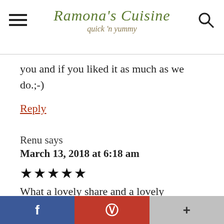Ramona's Cuisine quick 'n yummy
you and if you liked it as much as we do.;-)
Reply
Renu says
March 13, 2018 at 6:18 am
★★★★★
What a lovely share and a lovely combination. I am pinning this to try it
[Figure (infographic): Social sharing bar with Facebook (blue), Pinterest (red), and More (gray) buttons at the bottom of the page]